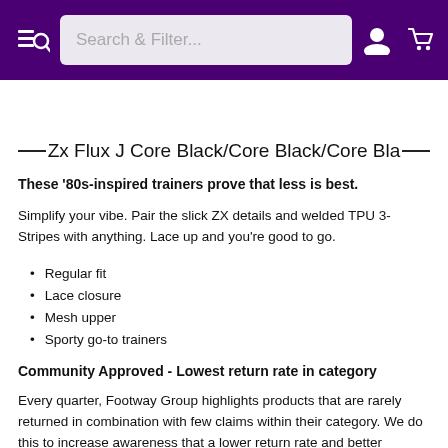Search & Filter...
Zx Flux J Core Black/Core Black/Core Bla
These ‘80s-inspired trainers prove that less is best.
Simplify your vibe. Pair the slick ZX details and welded TPU 3-Stripes with anything. Lace up and you’re good to go.
Regular fit
Lace closure
Mesh upper
Sporty go-to trainers
Community Approved - Lowest return rate in category
Every quarter, Footway Group highlights products that are rarely returned in combination with few claims within their category. We do this to increase awareness that a lower return rate and better